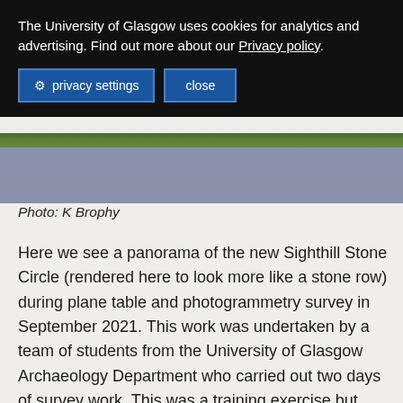The University of Glasgow uses cookies for analytics and advertising. Find out more about our Privacy policy.
privacy settings   close
[Figure (photo): Aerial or panoramic photo of Sighthill Stone Circle site, showing a green grass strip at top and a grey/blue-grey ground surface below.]
Photo: K Brophy
Here we see a panorama of the new Sighthill Stone Circle (rendered here to look more like a stone row) during plane table and photogrammetry survey in September 2021. This work was undertaken by a team of students from the University of Glasgow Archaeology Department who carried out two days of survey work. This was a training exercise but also an acknowledgement that this new incarnation of the monument is still an archaeological site – a stone